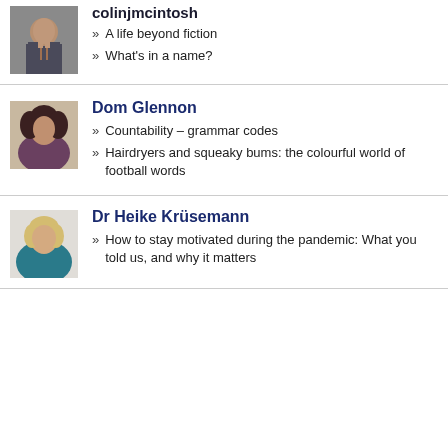[Figure (photo): Profile photo of colinjmcintosh, a man in a suit]
colinjmcintosh
» A life beyond fiction
» What's in a name?
[Figure (photo): Profile photo of Dom Glennon, a woman with curly dark hair]
Dom Glennon
» Countability – grammar codes
» Hairdryers and squeaky bums: the colourful world of football words
[Figure (photo): Profile photo of Dr Heike Krüsemann, a blonde woman in a teal top]
Dr Heike Krüsemann
» How to stay motivated during the pandemic: What you told us, and why it matters